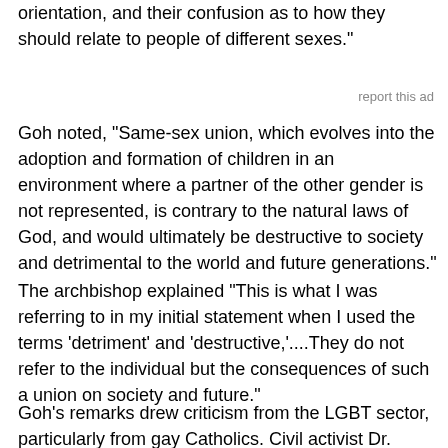orientation, and their confusion as to how they should relate to people of different sexes."
report this ad
Goh noted, "Same-sex union, which evolves into the adoption and formation of children in an environment where a partner of the other gender is not represented, is contrary to the natural laws of God, and would ultimately be destructive to society and detrimental to the world and future generations."
The archbishop explained "This is what I was referring to in my initial statement when I used the terms 'detriment' and 'destructive,'....They do not refer to the individual but the consequences of such a union on society and future."
Goh's remarks drew criticism from the LGBT sector, particularly from gay Catholics. Civil activist Dr. Vincent